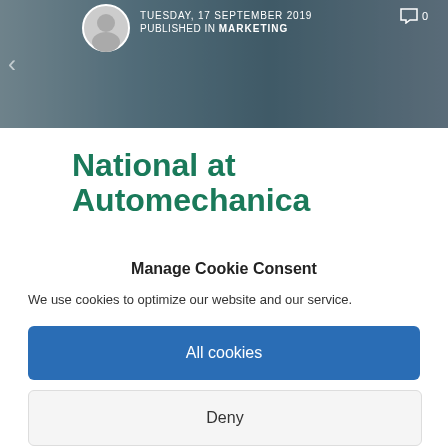[Figure (photo): Hero banner image of a trade show or exhibition floor with blue industrial shelving, a white tent/pavilion, and overlaid article metadata. Shows avatar circle, date TUESDAY, 17 SEPTEMBER 2019, PUBLISHED IN MARKETING, and comment icon with 0.]
TUESDAY, 17 SEPTEMBER 2019  PUBLISHED IN MARKETING  0
National at Automechanica
For the 3rd year running, National Refrigerants Ltd
Manage Cookie Consent
We use cookies to optimize our website and our service.
All cookies
Deny